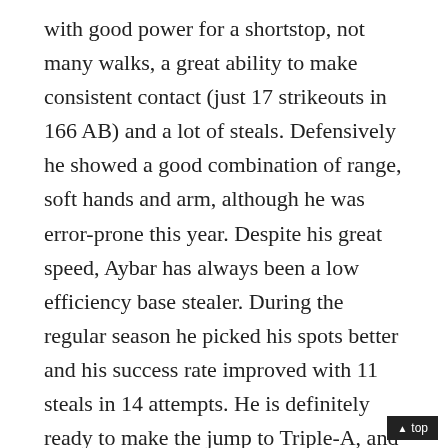with good power for a shortstop, not many walks, a great ability to make consistent contact (just 17 strikeouts in 166 AB) and a lot of steals. Defensively he showed a good combination of range, soft hands and arm, although he was error-prone this year. Despite his great speed, Aybar has always been a low efficiency base stealer. During the regular season he picked his spots better and his success rate improved with 11 steals in 14 attempts. He is definitely ready to make the jump to Triple-A, and has proven himself to become a viable major leaguer in the near future. Considering the great depth of middle infielders the Angels have, don't be surprised if Aybar is included in a blockbuster trade; he's been followed closely by several organizations during the winter.